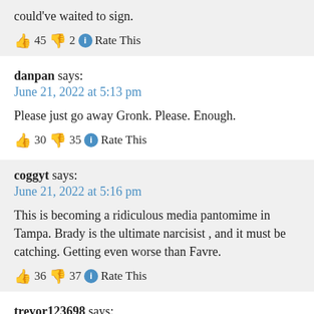could've waited to sign.
👍 45 👎 2 ℹ Rate This
danpan says:
June 21, 2022 at 5:13 pm
Please just go away Gronk. Please. Enough.
👍 30 👎 35 ℹ Rate This
coggyt says:
June 21, 2022 at 5:16 pm
This is becoming a ridiculous media pantomime in Tampa. Brady is the ultimate narcisist , and it must be catching. Getting even worse than Favre.
👍 36 👎 37 ℹ Rate This
trevor123698 says: